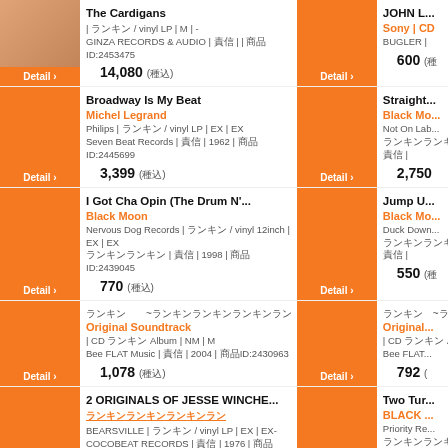The Cardigans | vinyl LP | M | - GINZA RECORDS & AUDIO | 商品ID:2453475 | ¥14,080 (税込)
JOHN L... Sony | CD BUGLER | ¥600
Broadway Is My Beat / Michel Legrand / Philips | vinyl LP | EX | EX / Seven Beat Records | 1962 | 商品ID:2445699 | ¥3,399 (税込)
Straight... / Black Mo... / Not On Lab... | ¥2,750
I Got Cha Opin (The Drum N'... / Black Moon / Nervous Dog Records | vinyl 12inch | EX | EX / 1998 | 商品ID:2439045 | ¥770 (税込)
Jump U... / Black Mo... / Duck Down... | ¥550
Original Soundtrack | CD Album | NM | M / Bee FLAT Music | 2004 | 商品ID:2430963 | ¥1,078 (税込)
Original... | CD Album / Bee FLAT... | ¥792
2 ORIGINALS OF JESSE WINCHE... / BEARSVILLE | vinyl LP | EX | EX- / COCOBEAT RECORDS | 1976 | 商品ID:2429107
Two Tur... / BLACK ... / Priority Re... | ¥...